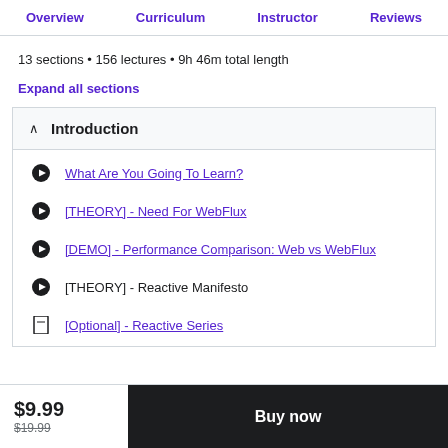Overview  Curriculum  Instructor  Reviews
13 sections • 156 lectures • 9h 46m total length
Expand all sections
^ Introduction
What Are You Going To Learn?
[THEORY] - Need For WebFlux
[DEMO] - Performance Comparison: Web vs WebFlux
[THEORY] - Reactive Manifesto
[Optional] - Reactive Series
$9.99  $19.99  Buy now